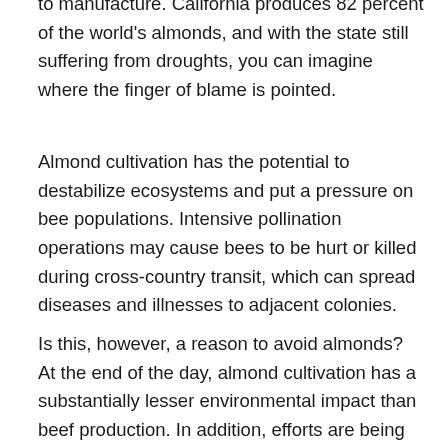to manufacture. California produces 82 percent of the world's almonds, and with the state still suffering from droughts, you can imagine where the finger of blame is pointed.
Almond cultivation has the potential to destabilize ecosystems and put a pressure on bee populations. Intensive pollination operations may cause bees to be hurt or killed during cross-country transit, which can spread diseases and illnesses to adjacent colonies.
Is this, however, a reason to avoid almonds? At the end of the day, almond cultivation has a substantially lesser environmental impact than beef production. In addition, efforts are being made to limit the amount of water used in